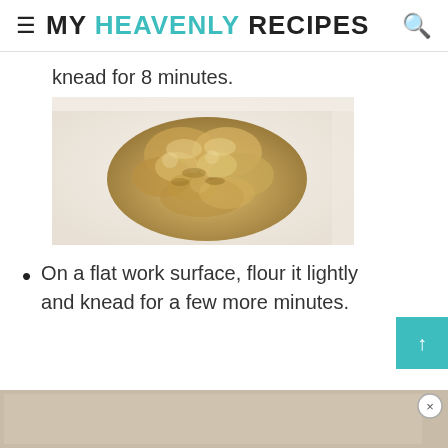MY HEAVENLY RECIPES
knead for 8 minutes.
[Figure (photo): A rough ball of unworked bread dough on a white surface, with a pale yellowish-tan color and craggy texture.]
On a flat work surface, flour it lightly and knead for a few more minutes.